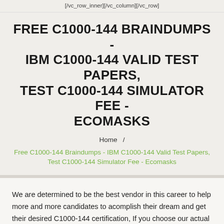[/vc_row_inner][/vc_column][/vc_row]
FREE C1000-144 BRAINDUMPS - IBM C1000-144 VALID TEST PAPERS, TEST C1000-144 SIMULATOR FEE - ECOMASKS
Home  /
Free C1000-144 Braindumps - IBM C1000-144 Valid Test Papers, Test C1000-144 Simulator Fee - Ecomasks
We are determined to be the best vendor in this career to help more and more candidates to acomplish their dream and get their desired C1000-144 certification, If you choose our actual test